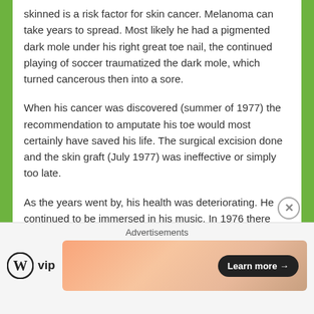skinned is a risk factor for skin cancer. Melanoma can take years to spread. Most likely he had a pigmented dark mole under his right great toe nail, the continued playing of soccer traumatized the dark mole, which turned cancerous then into a sore.
When his cancer was discovered (summer of 1977) the recommendation to amputate his toe would most certainly have saved his life. The surgical excision done and the skin graft (July 1977) was ineffective or simply too late.
As the years went by, his health was deteriorating. He continued to be immersed in his music. In 1976 there was an attempt on his life in Jamaica, Mr. Marley narrowly escaped death. He, his wife and manager Don Taylor
Advertisements